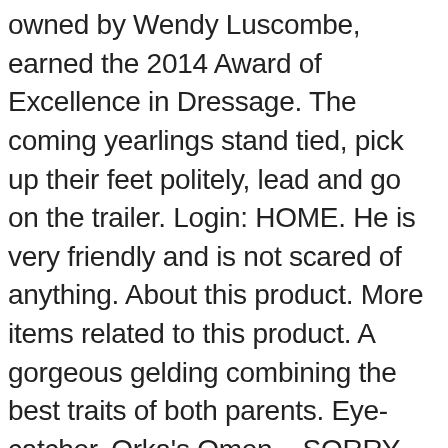owned by Wendy Luscombe, earned the 2014 Award of Excellence in Dressage. The coming yearlings stand tied, pick up their feet politely, lead and go on the trailer. Login: HOME. He is very friendly and is not scared of anything. About this product. More items related to this product. A gorgeous gelding combining the best traits of both parents. Eye-catcher. Orka's Omen – SORRY SOLD                    $9800 USD, DOB May 12, 2010 Orka/Katrinedals Vanessa. Thorsten will be gelded in 2020--this is your last chance to get an OFI Thorsten foal! OR E-MAIL US ON. Browse Horses, or place a FREE ad today on horseclicks.com. 12 Dealer New FJORD Boats for Sale in Australia. Contact Lori for details. Fernances Creek Horses for Sale – 3 horses available www.fernancescreek.com.au for a closer look at our horses Horse 1 Luccia 1 year old filly by Fernances Creek Logan X Fernances Creek Spartacus (fully registered